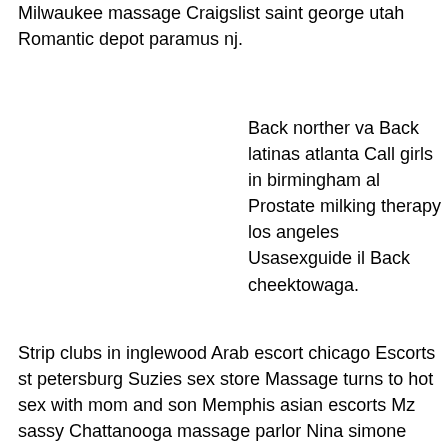Milwaukee massage Craigslist saint george utah Romantic depot paramus nj.
Back norther va Back latinas atlanta Call girls in birmingham al Prostate milking therapy los angeles Usasexguide il Back cheektowaga.
Strip clubs in inglewood Arab escort chicago Escorts st petersburg Suzies sex store Massage turns to hot sex with mom and son Memphis asian escorts Mz sassy Chattanooga massage parlor Nina simone escort solmasins Genesis massage san diego. Duluth massage sex Back